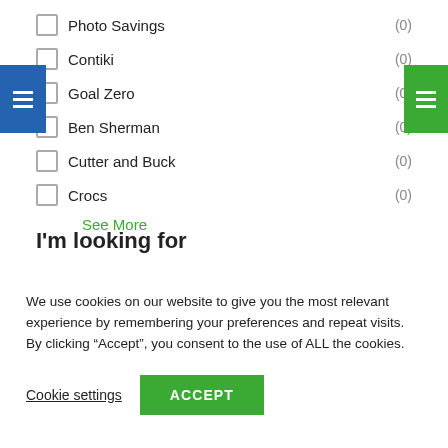Photo Savings (0)
Contiki (0)
Goal Zero (0)
Ben Sherman (0)
Cutter and Buck (0)
Crocs (0)
See More
I'm looking for
We use cookies on our website to give you the most relevant experience by remembering your preferences and repeat visits. By clicking “Accept”, you consent to the use of ALL the cookies.
Cookie settings  ACCEPT